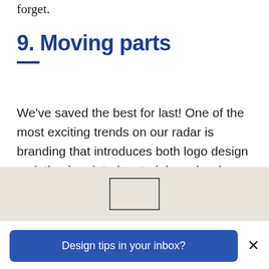forget.
9. Moving parts
We've saved the best for last! One of the most exciting trends on our radar is branding that introduces both logo design variation in printed materials and web-based animated GIFs.
[Figure (illustration): Partial beige/tan background strip with a small outlined rectangle visible at center, suggesting an image placeholder or cropped illustration.]
Design tips in your inbox?